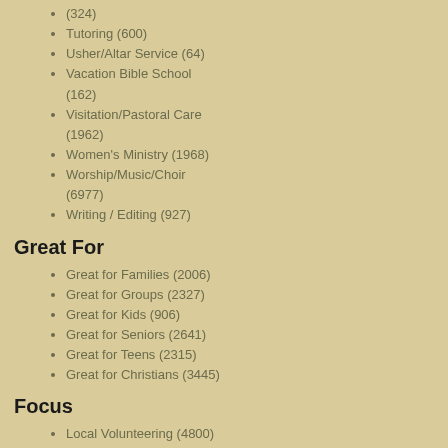(324)
Tutoring (600)
Usher/Altar Service (64)
Vacation Bible School (162)
Visitation/Pastoral Care (1962)
Women's Ministry (1968)
Worship/Music/Choir (6977)
Writing / Editing (927)
Great For
Great for Families (2006)
Great for Groups (2327)
Great for Kids (906)
Great for Seniors (2641)
Great for Teens (2315)
Great for Christians (3445)
Focus
Local Volunteering (4800)
Virtual Volunteering (1604)
General Short Term Missions (2142)
International Short Term Missions (874)
Domestic Short Term
Teacher / Trainer
Program Types: Youth Program
Volunteer Information: Great for Seniors, Great for Teens, Great for Groups
Organization Membership Type: Non-Profit (Non-Christian)
Web Address of Organization Volun...
View Listings